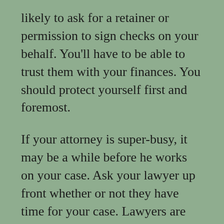likely to ask for a retainer or permission to sign checks on your behalf. You'll have to be able to trust them with your finances. You should protect yourself first and foremost.
If your attorney is super-busy, it may be a while before he works on your case. Ask your lawyer up front whether or not they have time for your case. Lawyers are generally honest about whether they have time to properly try your case.
There are many online services to help you find a local lawyer however, don't choose a lawyer based on their recommendation alone. No matter how you come across your lawyer, you